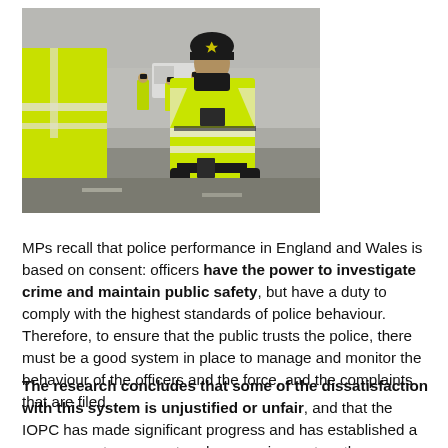[Figure (photo): Police officers in high-visibility yellow jackets and helmets on a road, foggy outdoor scene with multiple officers visible in background]
MPs recall that police performance in England and Wales is based on consent: officers have the power to investigate crime and maintain public safety, but have a duty to comply with the highest standards of police behaviour. Therefore, to ensure that the public trusts the police, there must be a good system in place to manage and monitor the behaviour of the officers and the force, and the complaints that are filed.
The research concludes that some of the dissatisfaction with this system is unjustified or unfair, and that the IOPC has made significant progress and has established a more open, transparent and responsive system than previous bodies.